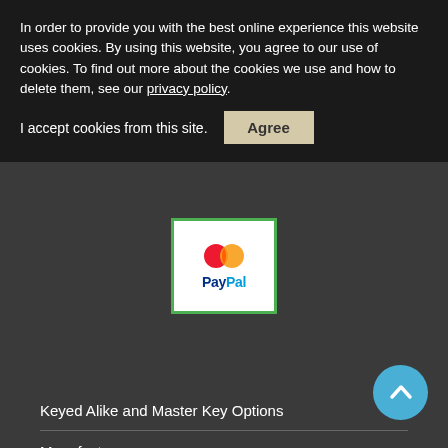In order to provide you with the best online experience this website uses cookies. By using this website, you agree to our use of cookies. To find out more about the cookies we use and how to delete them, see our privacy policy.
I accept cookies from this site.
[Figure (logo): PayPal logo inside a white box with green border, showing Mastercard-colored circles above the PayPal text]
Keyed Alike and Master Key Options
Manufacturers
Site-Map
Customer Feedback
Latest Products
Terms and Conditions
Privacy Policy
Delivery
Returns